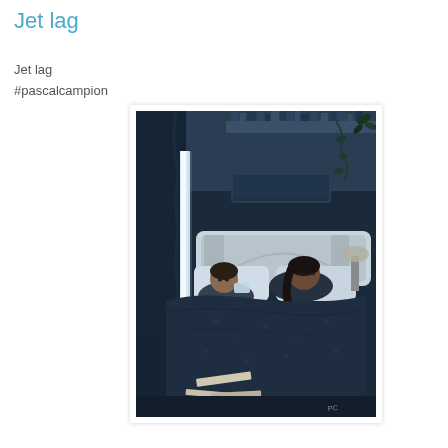Jet lag
Jet lag
#pascalcampion
[Figure (illustration): Digital illustration by Pascal Campion showing a couple lying in bed at night. A sliver of bright light comes through a gap in dark curtains by a window on the left. The room is dark blue in tone, with shelves of books and plants above the headboard. One person appears to be awake, holding a phone with a glowing screen, while the other sleeps. The bed has a dark floral-patterned comforter. Papers are scattered on the floor near the bed. The artist's signature is visible in the bottom right corner.]